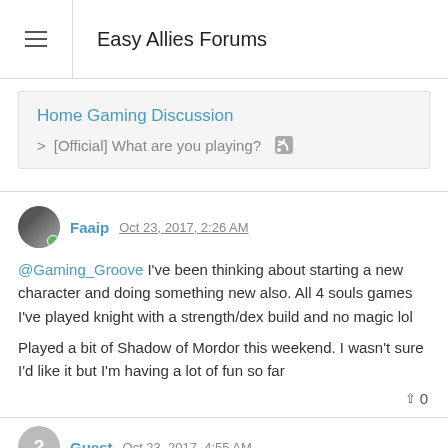Easy Allies Forums
Home Gaming Discussion > [Official] What are you playing?
Faaip Oct 23, 2017, 2:26 AM
@Gaming_Groove I've been thinking about starting a new character and doing something new also. All 4 souls games I've played knight with a strength/dex build and no magic lol

Played a bit of Shadow of Mordor this weekend. I wasn't sure I'd like it but I'm having a lot of fun so far
Guest Oct 23, 2017, 4:55 AM